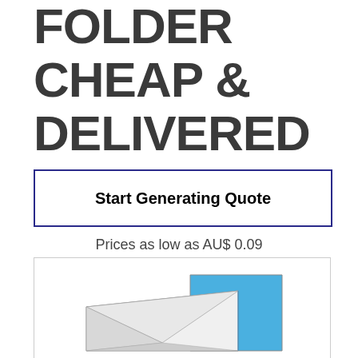FOLDER CHEAP & DELIVERED FAST
Start Generating Quote
Prices as low as AU$ 0.09
[Figure (illustration): Illustration of an open envelope/folder in blue and white colors, partially visible at the bottom of the page]